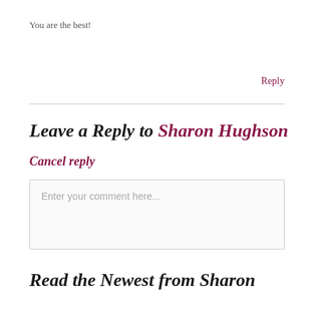You are the best!
Reply
Leave a Reply to Sharon Hughson
Cancel reply
Enter your comment here...
Read the Newest from Sharon